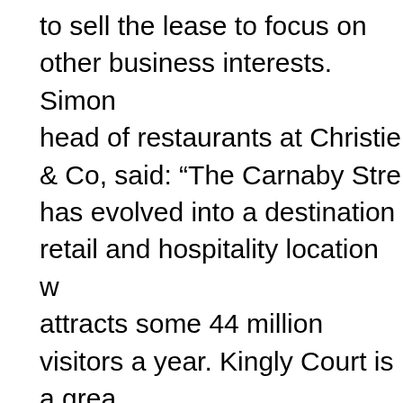to sell the lease to focus on other business interests. Simon head of restaurants at Christie & Co, said: "The Carnaby Stre has evolved into a destination retail and hospitality location w attracts some 44 million visitors a year. Kingly Court is a grea its own right having been developed by the landlords, Shafte Estates, into a multi-level dining venue with many new and ir operators located within it. This is possibly one of the most e restaurant sites that has come on to the market in recent yea opportunities for operators to acquire premises in London's W are extremely scarce. We therefore expect high interest and competition from both independent and corporate operators nationally and internationally." Christie & Co is seeking offers of £700,000 for the leasehold interest with all fixtures and fitt an annual rent of £410,000. The first round of offers is sough Tuesday, 25 October.